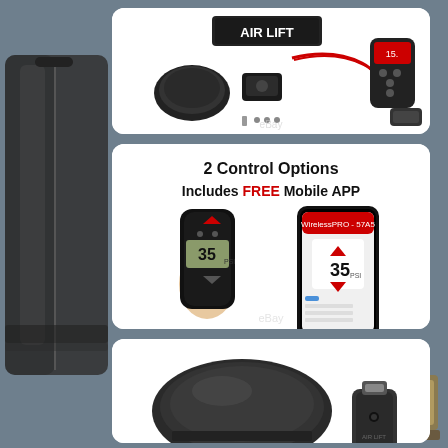[Figure (photo): Air Lift brand air suspension kit product photo showing compressor, wiring harness, valves, mounting hardware, remote control, and digital display unit against white background with eBay watermark]
[Figure (photo): Air Lift control options promotional image showing '2 Control Options - Includes FREE Mobile APP' with a hand holding a wireless remote displaying 35 PSI and a smartphone showing mobile app with 35 PSI reading. eBay watermark visible.]
[Figure (photo): Air Lift air compressor and wireless USB dongle/controller shown against white background, partial view at bottom of page]